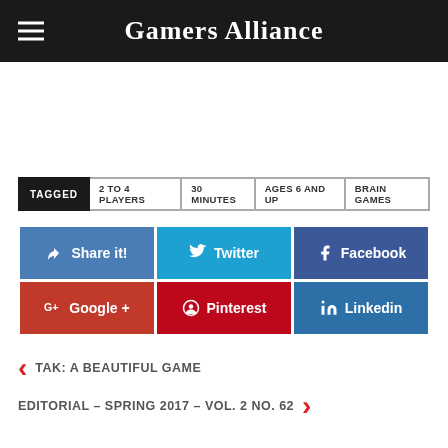Gamers Alliance
TAGGED | 2 TO 4 PLAYERS | 30 MINUTES | AGES 6 AND UP | BRAIN GAMES
[Figure (infographic): Social sharing buttons: Share it!, Twitter, Facebook, Google+, Pinterest, Linkedin]
< TAK: A BEAUTIFUL GAME
EDITORIAL – SPRING 2017 – VOL. 2 NO. 62 >